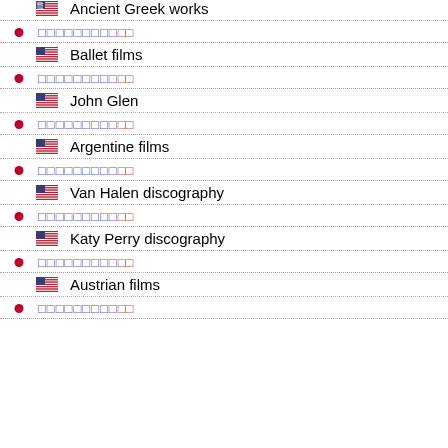Ancient Greek works
Ballet films
John Glen
Argentine films
Van Halen discography
Katy Perry discography
Austrian films
(Japanese text row)